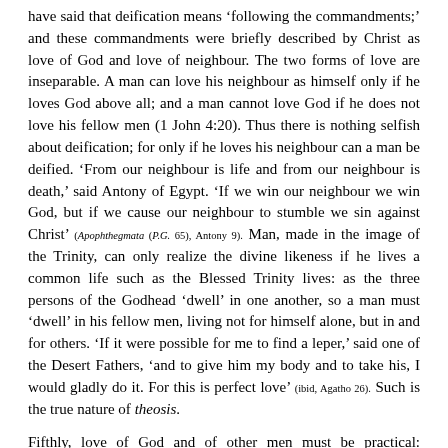have said that deification means ‘following the commandments;’ and these commandments were briefly described by Christ as love of God and love of neighbour. The two forms of love are inseparable. A man can love his neighbour as himself only if he loves God above all; and a man cannot love God if he does not love his fellow men (1 John 4:20). Thus there is nothing selfish about deification; for only if he loves his neighbour can a man be deified. ‘From our neighbour is life and from our neighbour is death,’ said Antony of Egypt. ‘If we win our neighbour we win God, but if we cause our neighbour to stumble we sin against Christ’ (Apophthegmata (P.G. 65), Antony 9). Man, made in the image of the Trinity, can only realize the divine likeness if he lives a common life such as the Blessed Trinity lives: as the three persons of the Godhead ‘dwell’ in one another, so a man must ‘dwell’ in his fellow men, living not for himself alone, but in and for others. ‘If it were possible for me to find a leper,’ said one of the Desert Fathers, ‘and to give him my body and to take his, I would gladly do it. For this is perfect love’ (ibid, Agatho 26). Such is the true nature of theosis.
Fifthly, love of God and of other men must be practical: Orthodoxy rejects all forms of Quietism, all types of love which do not issue in action. Deification, while it includes the heights of mystical experience, has also a very prosaic and down-to-earth aspect. When we think of deification, we must think of the Hesychasts